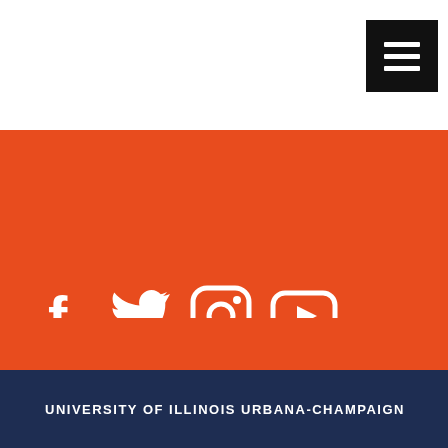[Figure (screenshot): Navigation header with hamburger menu button on white background]
[Figure (infographic): Orange section with social media icons: Facebook, Twitter, Instagram, YouTube]
ICAP PORTAL
SEARCH
UNIVERSITY OF ILLINOIS URBANA-CHAMPAIGN